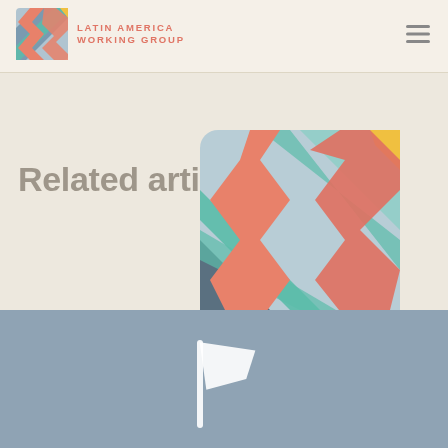[Figure (logo): Latin America Working Group logo with colorful zigzag geometric design and organization name text]
[Figure (illustration): Hamburger menu icon (three horizontal lines) top right]
Related articles
[Figure (illustration): Large LAWG zigzag geometric logo graphic centered on beige background]
[Figure (illustration): White flag icon on steel blue background]